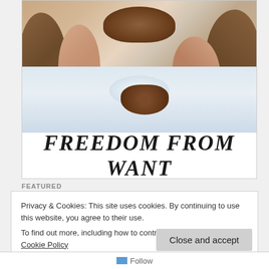[Figure (illustration): Norman Rockwell's 'Freedom from Want' painting showing a family Thanksgiving dinner scene with a large turkey being served, people seated at a white tablecloth table, with bold serif text 'FREEDOM FROM WANT' at the bottom]
FEATURED
Privacy & Cookies: This site uses cookies. By continuing to use this website, you agree to their use. To find out more, including how to control cookies, see here: Our Cookie Policy